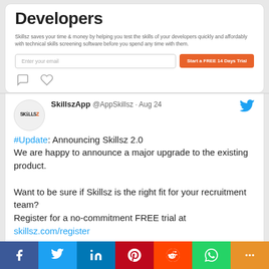[Figure (screenshot): Top portion of a tweet card showing 'Developers' heading, descriptive text about Skillz saving time and money, an email input field, and an orange 'Start a FREE 14 Days Trial' button.]
#Update: Announcing Skillsz 2.0
We are happy to announce a major upgrade to the existing product.

Want to be sure if Skillsz is the right fit for your recruitment team?
Register for a no-commitment FREE trial at skillsz.com/register

#SkillTest #ITskillTest #ShortlistingTool
[Figure (screenshot): Bottom strip showing a partial image and 'Save time & money' text on a green background, cropped at the bottom of the page.]
[Figure (infographic): Social share bar at the bottom with Facebook, Twitter, LinkedIn, Pinterest, Reddit, WhatsApp, and More share buttons in their respective brand colors.]